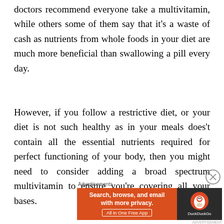doctors recommend everyone take a multivitamin, while others some of them say that it’s a waste of cash as nutrients from whole foods in your diet are much more beneficial than swallowing a pill every day.
However, if you follow a restrictive diet, or your diet is not such healthy as in your meals does’t contain all the essential nutrients required for perfect functioning of your body, then you might need to consider adding a broad spectrum multivitamin to ensure you’re covering all your bases.
[Figure (other): DuckDuckGo advertisement banner: orange left panel with text 'Search, browse, and email with more privacy. All in One Free App', dark right panel with DuckDuckGo logo and name.]